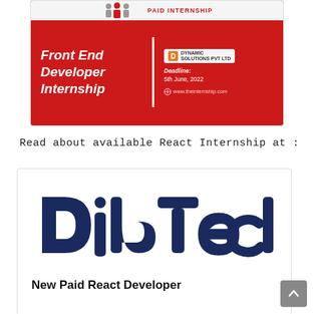[Figure (illustration): Red banner advertisement for a Paid Internship: Front End Developer Internship. Includes Dynamic Solutions logo, Deadline: 5th June, 2022, and www.theinternship.com URL.]
Read about available React Internship at :
[Figure (logo): DibTech company logo in dark navy blue text, large stylized font.]
New Paid React Developer